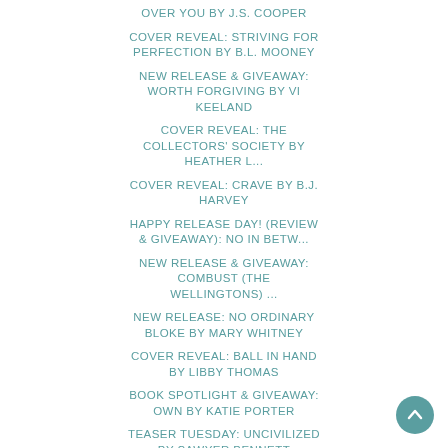OVER YOU BY J.S. COOPER
COVER REVEAL: STRIVING FOR PERFECTION BY B.L. MOONEY
NEW RELEASE & GIVEAWAY: WORTH FORGIVING BY VI KEELAND
COVER REVEAL: THE COLLECTORS' SOCIETY BY HEATHER L...
COVER REVEAL: CRAVE BY B.J. HARVEY
HAPPY RELEASE DAY! (REVIEW & GIVEAWAY): NO IN BETW...
NEW RELEASE & GIVEAWAY: COMBUST (THE WELLINGTONS) ...
NEW RELEASE: NO ORDINARY BLOKE BY MARY WHITNEY
COVER REVEAL: BALL IN HAND BY LIBBY THOMAS
BOOK SPOTLIGHT & GIVEAWAY: OWN BY KATIE PORTER
TEASER TUESDAY: UNCIVILIZED BY SAWYER BENNETT